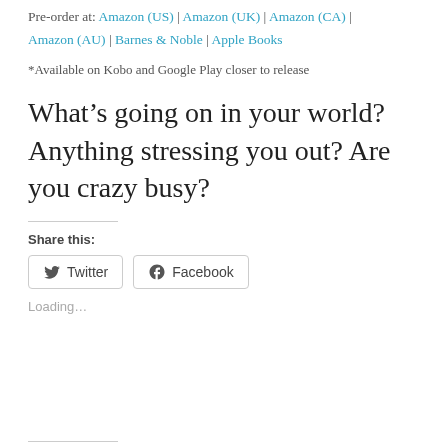Pre-order at: Amazon (US) | Amazon (UK) | Amazon (CA) | Amazon (AU) | Barnes & Noble | Apple Books
*Available on Kobo and Google Play closer to release
What's going on in your world? Anything stressing you out? Are you crazy busy?
Share this:
[Figure (other): Share buttons for Twitter and Facebook]
Loading...